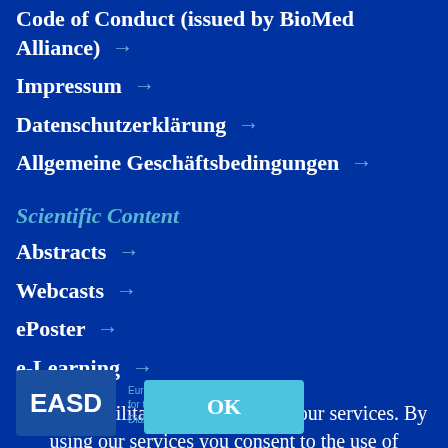Code of Conduct (issued by BioMed Alliance) →
Impressum →
Datenschutzerklärung →
Allgemeine Geschäftsbedingungen →
Scientific Content
Abstracts →
Webcasts →
ePoster →
e-Learning →
Cookies facilitate the provision of our services. By using our services you consent to the use of Cookies. More information about our Privacy Policy.
[Figure (logo): EASD logo with tagline 'European Association for the Study of Diabetes']
OK